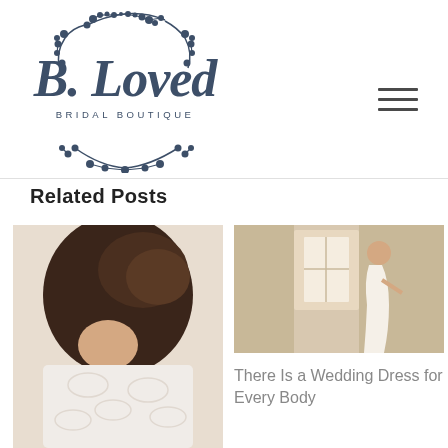[Figure (logo): B. Loved Bridal Boutique logo — decorative script text 'B. Loved' with 'BRIDAL BOUTIQUE' beneath, surrounded by a circular botanical wreath illustration in dark navy blue]
[Figure (other): Hamburger menu icon — three horizontal lines stacked]
Related Posts
[Figure (photo): Close-up photo of bride from behind showing dark hair in an updo and lace dress back]
[Figure (photo): Photo of bride in white wedding dress standing near a window in a rustic room with whitewashed walls]
There Is a Wedding Dress for Every Body